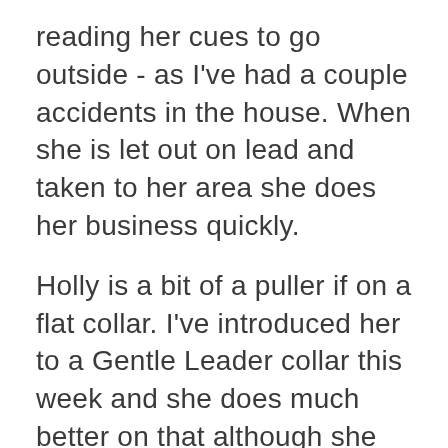reading her cues to go outside - as I've had a couple accidents in the house. When she is let out on lead and taken to her area she does her business quickly.
Holly is a bit of a puller if on a flat collar. I've introduced her to a Gentle Leader collar this week and she does much better on that although she still will try and paw it off occasionally. She does not resist getting it on which is surprising.
We have three cats - Holly wishes they'd play with her more, but does great with them inside.